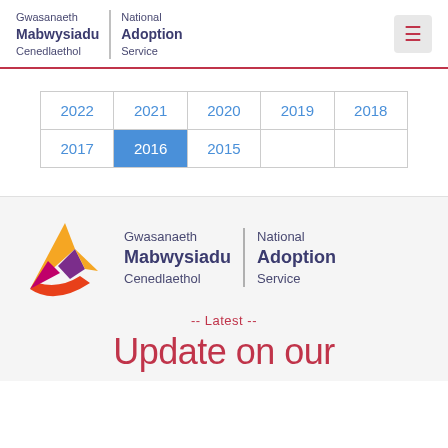Gwasanaeth Mabwysiadu Cenedlaethol | National Adoption Service
| 2022 | 2021 | 2020 | 2019 | 2018 |
| 2017 | 2016 | 2015 |  |  |
[Figure (logo): National Adoption Service / Gwasanaeth Mabwysiadu Cenedlaethol logo with colourful A icon]
-- Latest --
Update on our